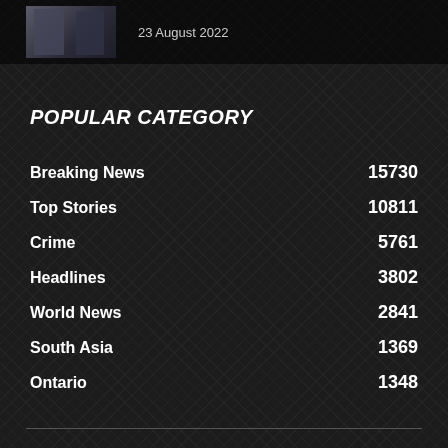[Figure (photo): Two people standing near a vehicle, screenshot from news website header]
23 August 2022
POPULAR CATEGORY
Breaking News   15730
Top Stories   10811
Crime   5761
Headlines   3802
World News   2841
South Asia   1369
Ontario   1348
[Figure (logo): Logo image at bottom center]